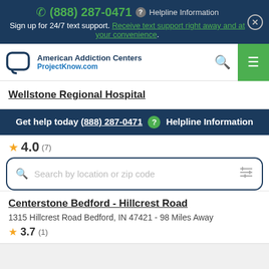(888) 287-0471  Helpline Information
Sign up for 24/7 text support. Receive text support right away and at your convenience.
[Figure (logo): American Addiction Centers / ProjectKnow.com logo with speech bubble icon]
Wellstone Regional Hospital
Get help today (888) 287-0471  Helpline Information
★ 4.0 (7)
Search by location or zip code
Centerstone Bedford - Hillcrest Road
1315 Hillcrest Road Bedford, IN 47421 - 98 Miles Away
★ 3.7 (1)